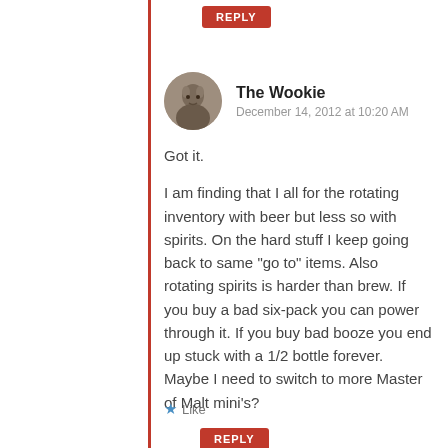[Figure (other): Red REPLY button at top of comment thread]
The Wookie
December 14, 2012 at 10:20 AM
Got it.
I am finding that I all for the rotating inventory with beer but less so with spirits. On the hard stuff I keep going back to same “go to” items. Also rotating spirits is harder than brew. If you buy a bad six-pack you can power through it. If you buy bad booze you end up stuck with a 1/2 bottle forever. Maybe I need to switch to more Master of Malt mini’s?
★ Like